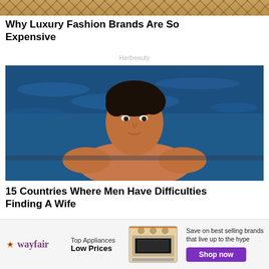[Figure (photo): Top portion of a luxury Louis Vuitton bag with LV monogram pattern visible]
Why Luxury Fashion Brands Are So Expensive
Herbeauty
[Figure (photo): Shirtless muscular man in a swimming pool, looking at camera with water background]
15 Countries Where Men Have Difficulties Finding A Wife
Herbeauty
[Figure (other): Wayfair advertisement banner: Top Appliances Low Prices, Save on best selling brands that live up to the hype, Shop now button, image of a stove/range appliance]